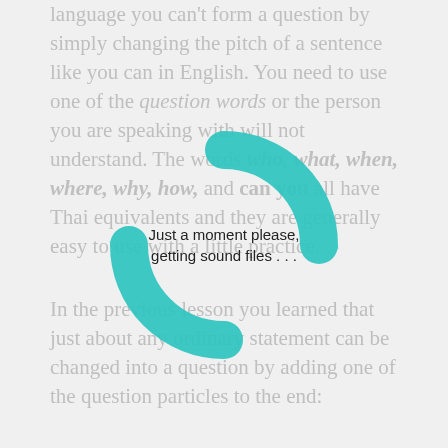language you can't form a question by simply changing the pitch of a sentence like you can in English. You need to use one of the question words or the person you are speaking with will not understand. The words who, what, when, where, why, how, and can you all have Thai equivalents and they are generally easy to use with a little practice.
[Figure (infographic): Teal circular loading/spinner icon with the text overlay 'Just a moment please, getting sound files . . .' in the center]
In the previous lesson you learned that just about any ordinary statement can be changed into a question by adding one of the question particles to the end: